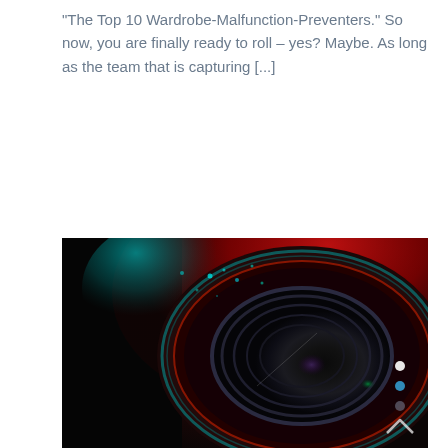"The Top 10 Wardrobe-Malfunction-Preventers." So now, you are finally ready to roll – yes? Maybe. As long as the team that is capturing [...]
read more ›
[Figure (photo): Close-up macro photograph of a camera lens with vivid red and cyan/teal colors under dramatic lighting, showing concentric lens rings and bokeh elements.]